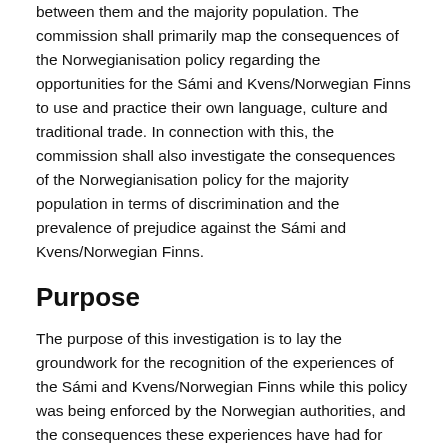between them and the majority population. The commission shall primarily map the consequences of the Norwegianisation policy regarding the opportunities for the Sámi and Kvens/Norwegian Finns to use and practice their own language, culture and traditional trade. In connection with this, the commission shall also investigate the consequences of the Norwegianisation policy for the majority population in terms of discrimination and the prevalence of prejudice against the Sámi and Kvens/Norwegian Finns.
Purpose
The purpose of this investigation is to lay the groundwork for the recognition of the experiences of the Sámi and Kvens/Norwegian Finns while this policy was being enforced by the Norwegian authorities, and the consequences these experiences have had for them as groups and individuals. The aim is to establish a common understanding of how Norwegian authorities and society treated the entirety or parts of the Kven and Sámi population and their culture.
The investigation shall have a forward-looking perspective. The primary objective is that the commission, through establishing a